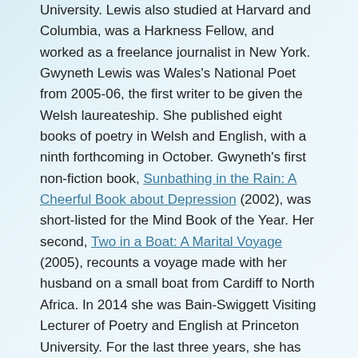University. Lewis also studied at Harvard and Columbia, was a Harkness Fellow, and worked as a freelance journalist in New York. Gwyneth Lewis was Wales's National Poet from 2005-06, the first writer to be given the Welsh laureateship. She published eight books of poetry in Welsh and English, with a ninth forthcoming in October. Gwyneth's first non-fiction book, Sunbathing in the Rain: A Cheerful Book about Depression (2002), was short-listed for the Mind Book of the Year. Her second, Two in a Boat: A Marital Voyage (2005), recounts a voyage made with her husband on a small boat from Cardiff to North Africa. In 2014 she was Bain-Swiggett Visiting Lecturer of Poetry and English at Princeton University. For the last three years, she has been Faculty at Bread Loaf School of English, Vermont, USA, and was the 2016 Robert